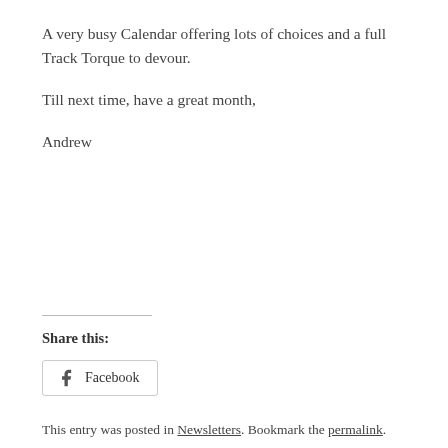A very busy Calendar offering lots of choices and a full Track Torque to devour.
Till next time, have a great month,
Andrew
Share this:
[Figure (other): Facebook share button with Facebook icon]
This entry was posted in Newsletters. Bookmark the permalink.